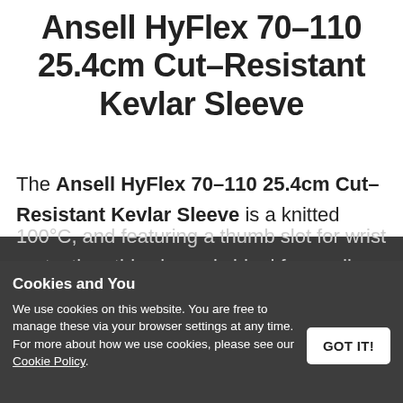Ansell HyFlex 70-110 25.4cm Cut-Resistant Kevlar Sleeve
The Ansell HyFlex 70-110 25.4cm Cut-Resistant Kevlar Sleeve is a knitted protective sleeve manufactured from tough and reliable Kevlar fibres for superior resistance to cut and tear. Protecting against contact heat up to 100°C, and featuring a thumb slot for wrist protection, this sleeve is ideal for medium risk applications in the automotive,
Cookies and You
We use cookies on this website. You are free to manage these via your browser settings at any time. For more about how we use cookies, please see our Cookie Policy.